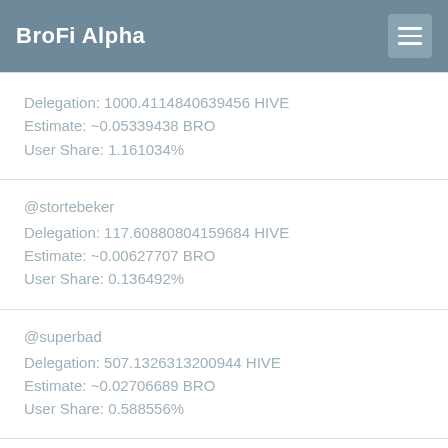BroFi Alpha
Delegation: 1000.4114840639456 HIVE
Estimate: ~0.05339438 BRO
User Share: 1.161034%
@stortebeker
Delegation: 117.60880804159684 HIVE
Estimate: ~0.00627707 BRO
User Share: 0.136492%
@superbad
Delegation: 507.1326313200944 HIVE
Estimate: ~0.02706689 BRO
User Share: 0.588556%
@syndicates
Delegation: 507.43691186795104 HIVE
Estimate: ~0.02708313 BRO